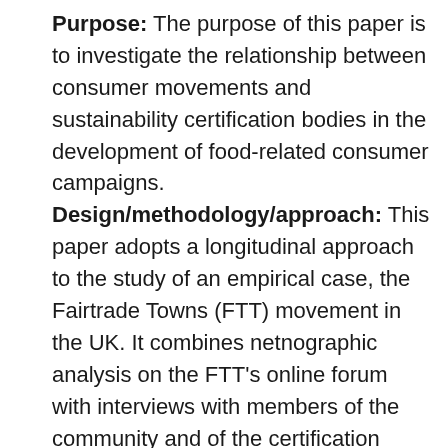Purpose: The purpose of this paper is to investigate the relationship between consumer movements and sustainability certification bodies in the development of food-related consumer campaigns. Design/methodology/approach: This paper adopts a longitudinal approach to the study of an empirical case, the Fairtrade Towns (FTT) movement in the UK. It combines netnographic analysis on the FTT's online forum with interviews with members of the community and of the certification body coordinating the movement. Findings: The author conceptualises Sustainably Certified Consumer Communities (SCCC) as a distinct sub-group of consumer movements whose identity coalesces around a sustainable certification and that mobilises supporters with the purpose of promoting social change through the marketplace. The longitudinal approach allows the identification of definitional elements, main practices and unresolved tensions of this concept. Originality/value: Research addressing the social movement dimension of